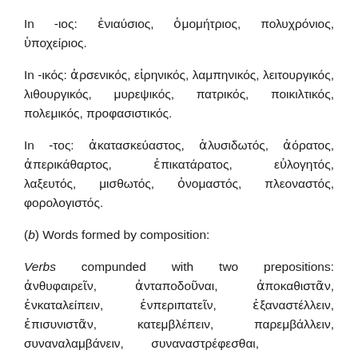In -ιος: ἐνιαύσιος, ὁμομήτριος, πολυχρόνιος, ὑποχείριος.
In -ικός: ἀρσενικός, εἰρηνικός, λαμπηνικός, λειτουργικός, λιθουργικός, μυρεψικός, πατρικός, ποικιλτικός, πολεμικός, προφασιστικός.
In -τος: ἀκατασκεύαστος, ἁλυσιδωτός, ἀόρατος, ἀπερικάθαρτος, ἐπικατάρατος, εὐλογητός, λαξευτός, μισθωτός, ὀνομαστός, πλεοναστός, φορολογιστός.
(b) Words formed by composition:
Verbs compunded with two prepositions: ἀνθυφαιρεῖν, ἀνταποδοῦναι, ἀποκαθιστᾶν, ἐνκαταλείπειν, ἐνπεριπατεῖν, ἐξαναστέλλειν, ἐπισυνιστᾶν, κατεμβλέπειν, παρεμβάλλειν, συναναλαμβάνειν, συναναστρέφεσθαι,